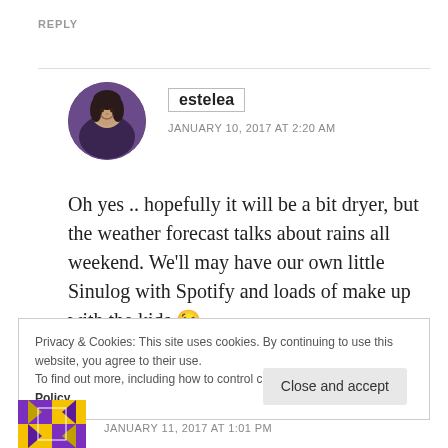REPLY
[Figure (photo): Round avatar photo of a woman with dark hair, smiling]
estelea
JANUARY 10, 2017 AT 2:20 AM
Oh yes .. hopefully it will be a bit dryer, but the weather forecast talks about rains all weekend. We'll may have our own little Sinulog with Spotify and loads of make up with the kids 😉
Privacy & Cookies: This site uses cookies. By continuing to use this website, you agree to their use.
To find out more, including how to control cookies, see here: Cookie Policy
Close and accept
[Figure (illustration): Decorative purple/gold geometric avatar icon at the bottom left]
JANUARY 11, 2017 AT 1:01 PM